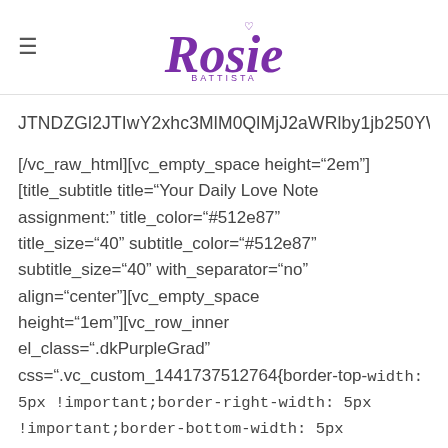≡  Rosie BATTISTA
JTNDZGl2JTIwY2xhc3MlM0QlMjJ2aWRlby1jb250YWluZXIlMjJ
[/vc_raw_html][vc_empty_space height="2em"][title_subtitle title="Your Daily Love Note assignment:" title_color="#512e87" title_size="40" subtitle_color="#512e87" subtitle_size="40" with_separator="no" align="center"][vc_empty_space height="1em"][vc_row_inner el_class=".dkPurpleGrad" css=".vc_custom_1441737512764{border-top-width: 5px !important;border-right-width: 5px !important;border-bottom-width: 5px